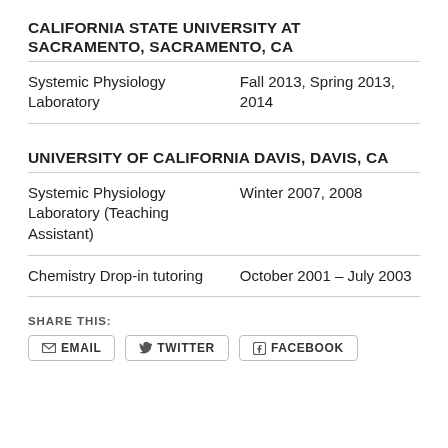CALIFORNIA STATE UNIVERSITY AT SACRAMENTO, SACRAMENTO, CA
| Course | Terms |
| --- | --- |
| Systemic Physiology Laboratory | Fall 2013, Spring 2013, 2014 |
UNIVERSITY OF CALIFORNIA DAVIS, DAVIS, CA
| Course | Terms |
| --- | --- |
| Systemic Physiology Laboratory (Teaching Assistant) | Winter 2007, 2008 |
| Chemistry Drop-in tutoring | October 2001 – July 2003 |
SHARE THIS:
EMAIL   TWITTER   FACEBOOK